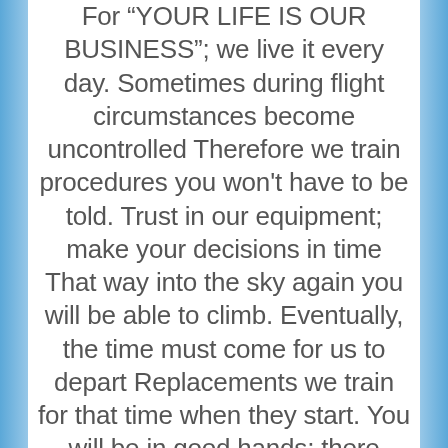For "YOUR LIFE IS OUR BUSINESS"; we live it every day. Sometimes during flight circumstances become uncontrolled Therefore we train procedures you won't have to be told. Trust in our equipment; make your decisions in time That way into the sky again you will be able to climb. Eventually, the time must come for us to depart Replacements we train for that time when they start. You will be in good hands; there